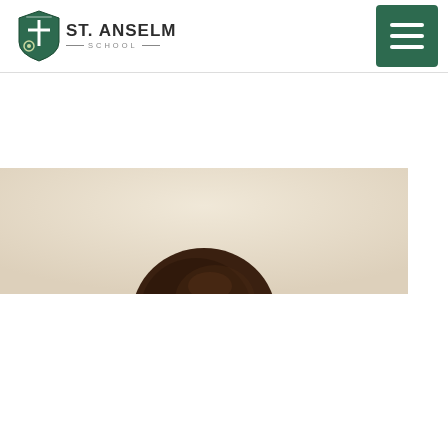St. Anselm School
[Figure (photo): Partial view of a child's head with dark hair, photographed from above/side angle against a beige/cream background, cropped to show only the top of the head]